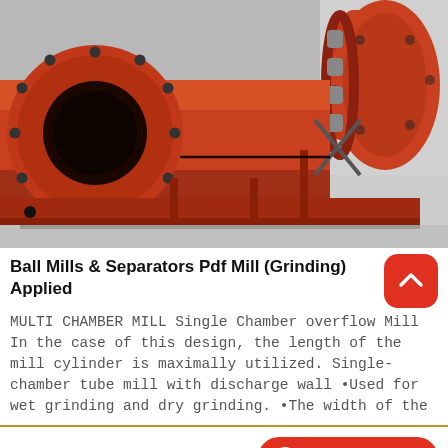[Figure (photo): Large red industrial ball mill and separator machines in a factory/warehouse setting. Prominent circular end cap visible on left, cylindrical mill drum on right.]
Ball Mills & Separators Pdf Mill (Grinding) Applied
MULTI CHAMBER MILL Single Chamber overflow Mill In the case of this design, the length of the mill cylinder is maximally utilized. Single-chamber tube mill with discharge wall •Used for wet grinding and dry grinding. •The width of the
Send Message
Free Consultation